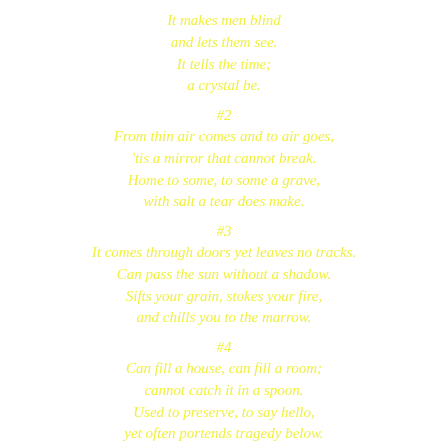It makes men blind
and lets them see.
It tells the time;
a crystal be.
#2
From thin air comes and to air goes,
'tis a mirror that cannot break.
Home to some, to some a grave,
with salt a tear does make.
#3
It comes through doors yet leaves no tracks.
Can pass the sun without a shadow.
Sifts your grain, stokes your fire,
and chills you to the marrow.
#4
Can fill a house, can fill a room;
cannot catch it in a spoon.
Used to preserve, to say hello,
yet often portends tragedy below.
#5
What has four fingers and a thumb